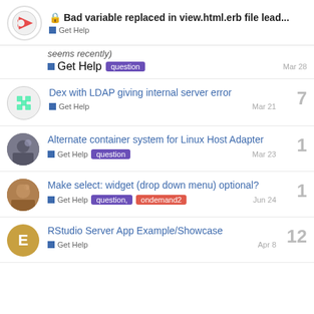Bad variable replaced in view.html.erb file lead... — Get Help
seems recently
Get Help  question  Mar 28
Dex with LDAP giving internal server error — Get Help — Mar 21 — 7 replies
Alternate container system for Linux Host Adapter — Get Help  question  Mar 23 — 1 reply
Make select: widget (drop down menu) optional? — Get Help  question,  ondemand2  Jun 24 — 1 reply
RStudio Server App Example/Showcase — Get Help  Apr 8 — 12 replies